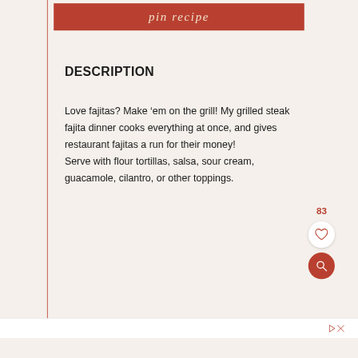pin recipe
DESCRIPTION
Love fajitas? Make ‘em on the grill! My grilled steak fajita dinner cooks everything at once, and gives restaurant fajitas a run for their money!
Serve with flour tortillas, salsa, sour cream, guacamole, cilantro, or other toppings.